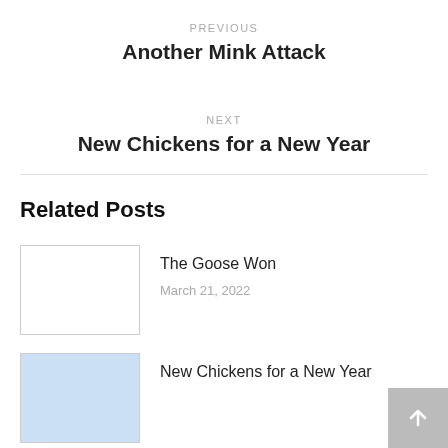PREVIOUS
Another Mink Attack
NEXT
New Chickens for a New Year
Related Posts
The Goose Won
March 21, 2022
New Chickens for a New Year